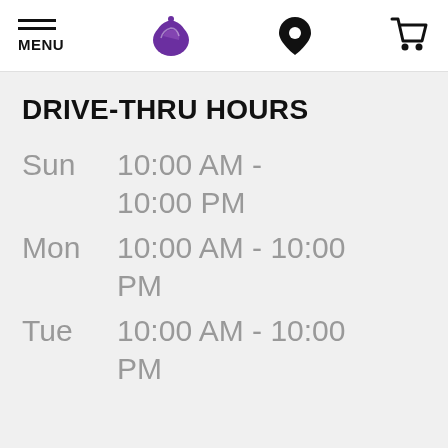MENU | Taco Bell logo | Location icon | Cart icon
DRIVE-THRU HOURS
| Day | Hours |
| --- | --- |
| Sun | 10:00 AM - 10:00 PM |
| Mon | 10:00 AM - 10:00 PM |
| Tue | 10:00 AM - 10:00 PM |